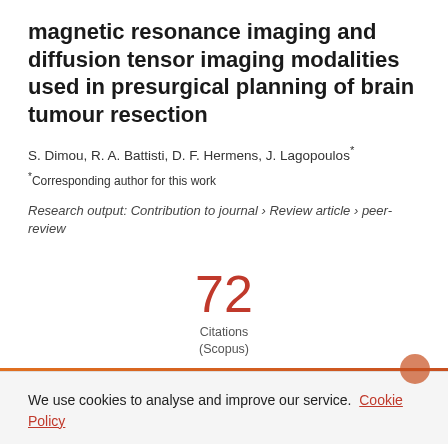magnetic resonance imaging and diffusion tensor imaging modalities used in presurgical planning of brain tumour resection
S. Dimou, R. A. Battisti, D. F. Hermens, J. Lagopoulos*
*Corresponding author for this work
Research output: Contribution to journal › Review article › peer-review
[Figure (infographic): Citation count display showing 72 Citations (Scopus)]
We use cookies to analyse and improve our service. Cookie Policy